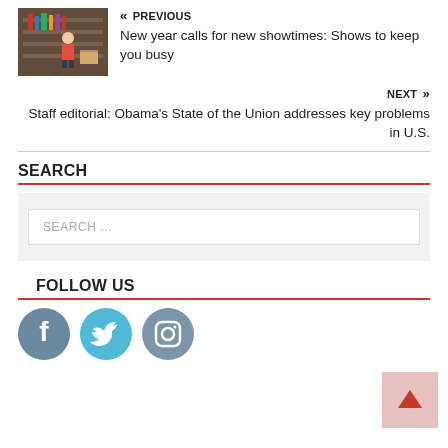« PREVIOUS
New year calls for new showtimes: Shows to keep you busy
NEXT »
Staff editorial: Obama's State of the Union addresses key problems in U.S.
SEARCH
SEARCH ...
FOLLOW US